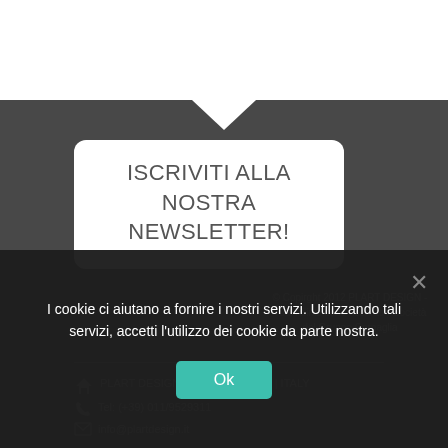ISCRIVITI ALLA NOSTRA NEWSLETTER!
© Copirght 2012 PLART DESIGN - Tutti i diritti sono riservati - Società del Gruppo Cornaglia
PLART DESIGN | P.I 11019980017 | ITALY
Tel: (+39) 011/9529311
info@plartdesign.it
SEGUICI SU
I cookie ci aiutano a fornire i nostri servizi. Utilizzando tali servizi, accetti l'utilizzo dei cookie da parte nostra.
Ok